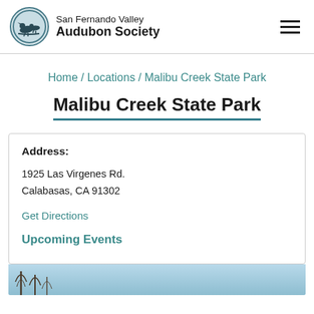San Fernando Valley Audubon Society
Home / Locations / Malibu Creek State Park
Malibu Creek State Park
Address:
1925 Las Virgenes Rd.
Calabasas, CA 91302
Get Directions
Upcoming Events
[Figure (photo): Partial photo of Malibu Creek State Park, showing trees against a light blue sky]